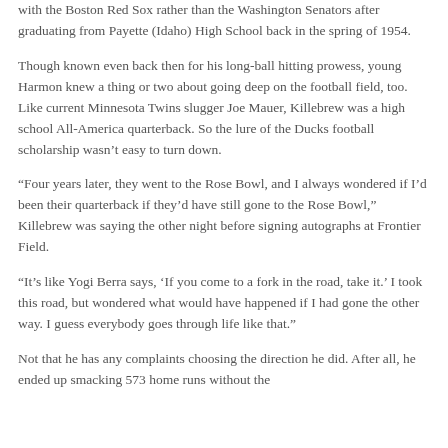with the Boston Red Sox rather than the Washington Senators after graduating from Payette (Idaho) High School back in the spring of 1954.
Though known even back then for his long-ball hitting prowess, young Harmon knew a thing or two about going deep on the football field, too. Like current Minnesota Twins slugger Joe Mauer, Killebrew was a high school All-America quarterback. So the lure of the Ducks football scholarship wasn't easy to turn down.
“Four years later, they went to the Rose Bowl, and I always wondered if I'd been their quarterback if they'd have still gone to the Rose Bowl,” Killebrew was saying the other night before signing autographs at Frontier Field.
“It’s like Yogi Berra says, ‘If you come to a fork in the road, take it.’ I took this road, but wondered what would have happened if I had gone the other way. I guess everybody goes through life like that.”
Not that he has any complaints choosing the direction he did. After all, he ended up smacking 573 home runs without the